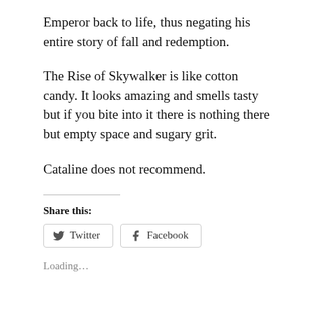Emperor back to life, thus negating his entire story of fall and redemption.
The Rise of Skywalker is like cotton candy. It looks amazing and smells tasty but if you bite into it there is nothing there but empty space and sugary grit.
Cataline does not recommend.
Share this:
[Figure (other): Twitter and Facebook share buttons]
Loading...